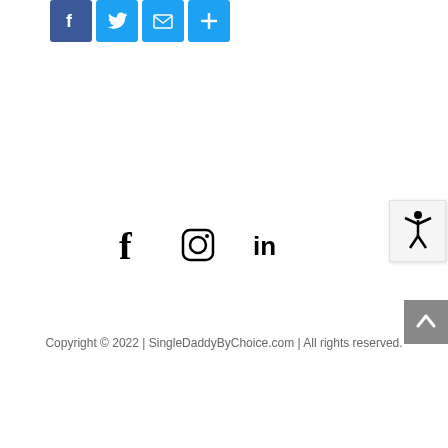[Figure (infographic): Social share buttons: Facebook (blue), Twitter (blue), Email (blue), Share/Plus (blue)]
[Figure (infographic): Social media icons: Facebook (f), Instagram, LinkedIn]
[Figure (infographic): Accessibility widget icon showing a person with arms raised, white background with border]
[Figure (infographic): Scroll to top button, gray background with upward chevron arrow]
Copyright © 2022 | SingleDaddyByChoice.com | All rights reserved.